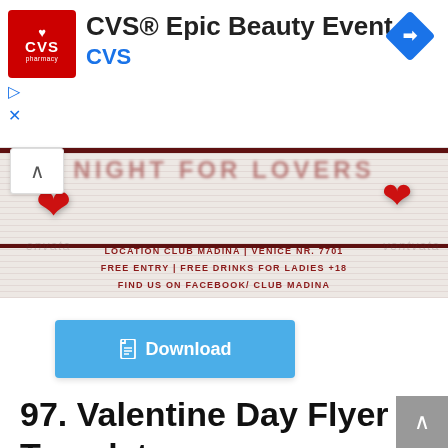[Figure (screenshot): CVS pharmacy advertisement banner with red CVS logo, title 'CVS® Epic Beauty Event', subtitle 'CVS', and a blue navigation/map icon on the right]
[Figure (illustration): Valentine's Day flyer preview showing red hearts, striped background, text 'NIGHT FOR LOVERS' at top (partially visible), dark red bars, location info: 'LOCATION CLUB MADINA | VENICE NR. 7701 FREE ENTRY | FREE DRINKS FOR LADIES +18 FIND US ON FACEBOOK/ CLUB MADINA', with envato watermarks]
[Figure (screenshot): Blue download button with document icon and text 'Download']
97. Valentine Day Flyer Template
[Figure (illustration): Bottom portion of another Valentine/event flyer with dark brown/rose gold gradient background, text 'R3 CLUB PRESENTS' and script text 'Celebrate in fine style']